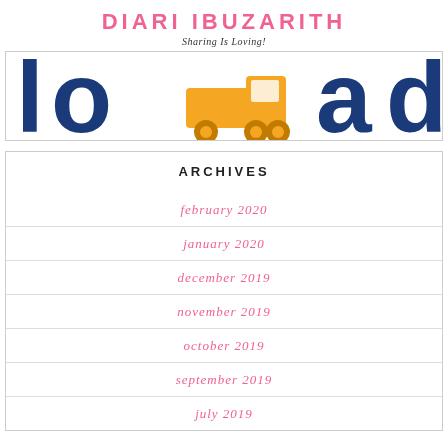DIARI IBUZARITH
Sharing Is Loving!
[Figure (illustration): Partial banner image showing large dark blue letters and a yellow toy truck/wagon illustration in the center]
ARCHIVES
february 2020
january 2020
december 2019
november 2019
october 2019
september 2019
july 2019